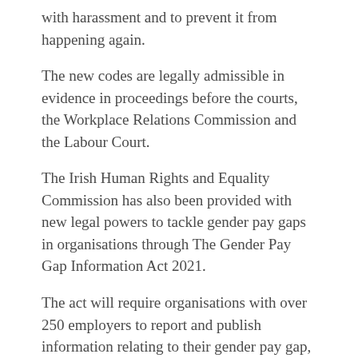with harassment and to prevent it from happening again.
The new codes are legally admissible in evidence in proceedings before the courts, the Workplace Relations Commission and the Labour Court.
The Irish Human Rights and Equality Commission has also been provided with new legal powers to tackle gender pay gaps in organisations through The Gender Pay Gap Information Act 2021.
The act will require organisations with over 250 employers to report and publish information relating to their gender pay gap, and to explain why there is a gap and what measures are being taken to reduce it.
“These codes of practice published today